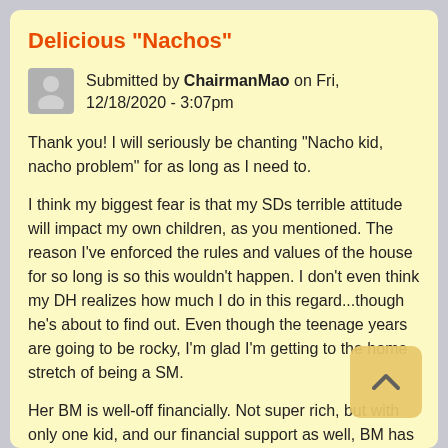Delicious "Nachos"
Submitted by ChairmanMao on Fri, 12/18/2020 - 3:07pm
Thank you! I will seriously be chanting "Nacho kid, nacho problem" for as long as I need to.
I think my biggest fear is that my SDs terrible attitude will impact my own children, as you mentioned. The reason I've enforced the rules and values of the house for so long is so this wouldn't happen. I don't even think my DH realizes how much I do in this regard...though he's about to find out. Even though the teenage years are going to be rocky, I'm glad I'm getting to the home stretch of being a SM.
Her BM is well-off financially. Not super rich, but with only one kid, and our financial support as well, BM has